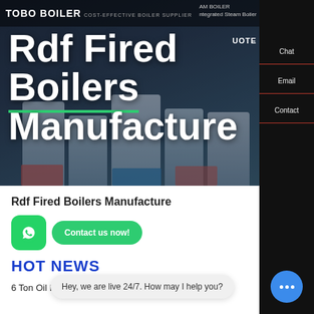[Figure (screenshot): Hero banner showing TOBO BOILER website header with industrial steam boilers in background, dark overlay, white bold text 'Rdf Fired Boilers Manufacture']
Rdf Fired Boilers Manufacture
Rdf Fired Boilers Manufacture
[Figure (logo): WhatsApp green icon button]
Contact us now!
HOT NEWS
Hey, we are live 24/7. How may I help you?
6 Ton Oil Boiler For Sale Lithuania